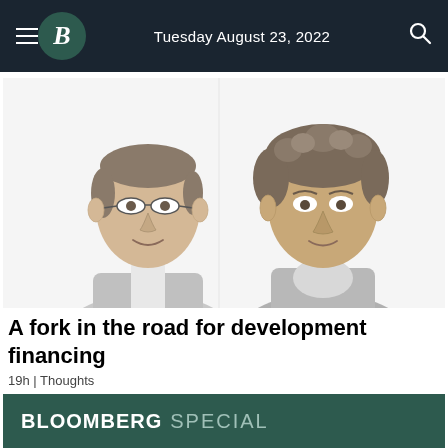Tuesday August 23, 2022
[Figure (illustration): Black and white illustrated portraits of two men side by side. The man on the left wears glasses and a suit jacket. The man on the right has curly hair and a jacket.]
A fork in the road for development financing
19h | Thoughts
[Figure (other): Bloomberg Special banner with dark teal background]